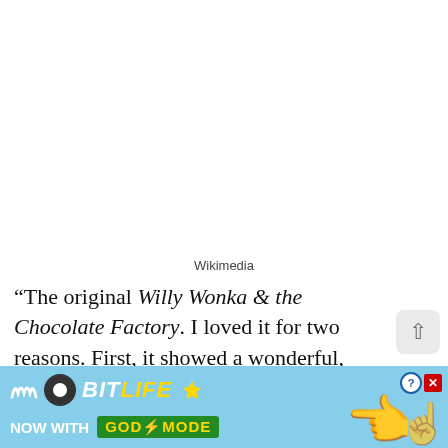[Figure (photo): White blank area representing an image placeholder (top portion of page)]
Wikimedia
“The original Willy Wonka & the Chocolate Factory. I loved it for two reasons. First, it showed a wonderful, loving extended family. I was fascinated by their kitchen setting and where the boy Charlie slept in a little nook. Secondly inside the chocolate factory was a bell...
[Figure (screenshot): BitLife advertisement banner: NOW WITH GOD MODE, with squiggle logo, pointing hand graphic, close and help buttons on cyan/sky blue background]